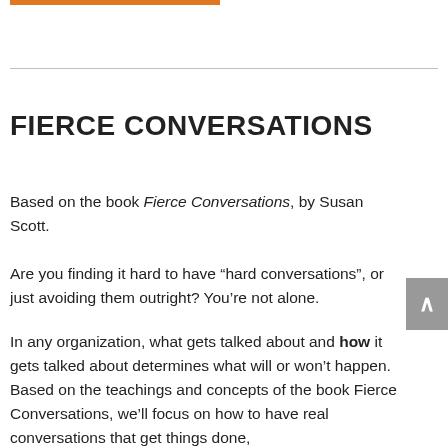FIERCE CONVERSATIONS
Based on the book Fierce Conversations, by Susan Scott.
Are you finding it hard to have “hard conversations”, or just avoiding them outright? You’re not alone.
In any organization, what gets talked about and how it gets talked about determines what will or won’t happen. Based on the teachings and concepts of the book Fierce Conversations, we’ll focus on how to have real conversations that get things done,